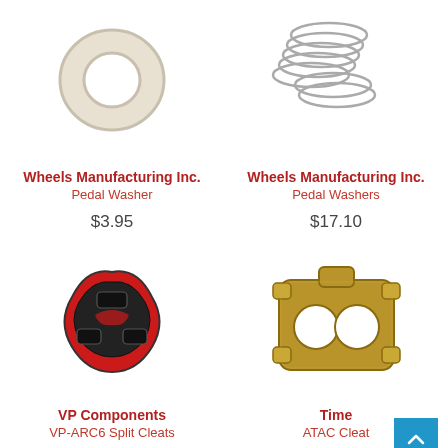[Figure (photo): Wheels Manufacturing Inc. Pedal Washer - single white/beige ring washer on white background]
Wheels Manufacturing Inc.
Pedal Washer
$3.95
[Figure (photo): Wheels Manufacturing Inc. Pedal Washers - multiple silver metal washers stacked/scattered on white background]
Wheels Manufacturing Inc.
Pedal Washers
$17.10
[Figure (photo): VP Components VP-ARC6 Split Cleats - red and black bicycle cleat on white background]
VP Components
VP-ARC6 Split Cleats
[Figure (photo): Time ATAC Cleat - brass/gold metal bicycle cleat with two holes on white background]
Time
ATAC Cleat